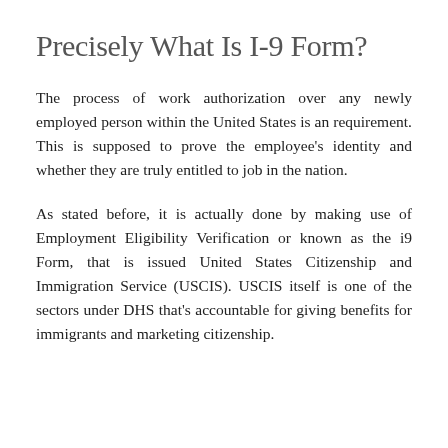Precisely What Is I-9 Form?
The process of work authorization over any newly employed person within the United States is an requirement. This is supposed to prove the employee's identity and whether they are truly entitled to job in the nation.
As stated before, it is actually done by making use of Employment Eligibility Verification or known as the i9 Form, that is issued United States Citizenship and Immigration Service (USCIS). USCIS itself is one of the sectors under DHS that's accountable for giving benefits for immigrants and marketing citizenship.